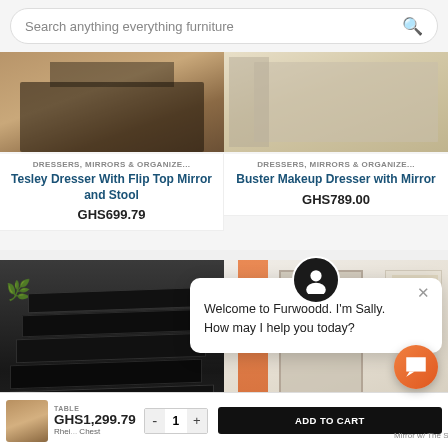[Figure (screenshot): Search bar with text 'Search anything everything furniture' and search icon]
[Figure (photo): Two product photos side by side: left shows Tesley Dresser With Flip Top Mirror and Stool, right shows Buster Makeup Dresser with Mirror]
DRESSERS, MIRRORS & ORGANIZE...
Tesley Dresser With Flip Top Mirror and Stool
GHS699.79
DRESSERS, MIRRORS & ORGANIZE...
Buster Makeup Dresser with Mirror
GHS789.00
[Figure (photo): Left: black dresser with staggered drawers on dark wood floor. Right: bedroom scene with orange curtains, mirror, and wall art.]
Welcome to Furwoodd. I'm Sally.
How may I help you today?
TABLE
GHS1,299.79
- 1 + ADD TO CART